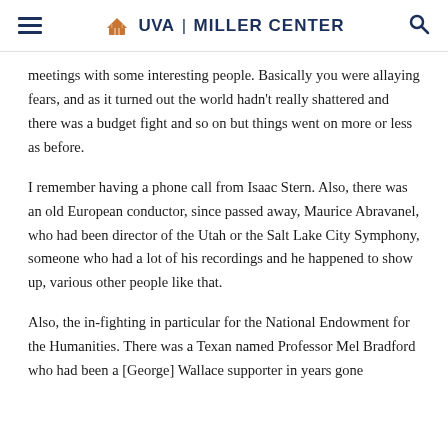UVA | MILLER CENTER
meetings with some interesting people. Basically you were allaying fears, and as it turned out the world hadn't really shattered and there was a budget fight and so on but things went on more or less as before.
I remember having a phone call from Isaac Stern. Also, there was an old European conductor, since passed away, Maurice Abravanel, who had been director of the Utah or the Salt Lake City Symphony, someone who had a lot of his recordings and he happened to show up, various other people like that.
Also, the in-fighting in particular for the National Endowment for the Humanities. There was a Texan named Professor Mel Bradford who had been a [George] Wallace supporter in years gone